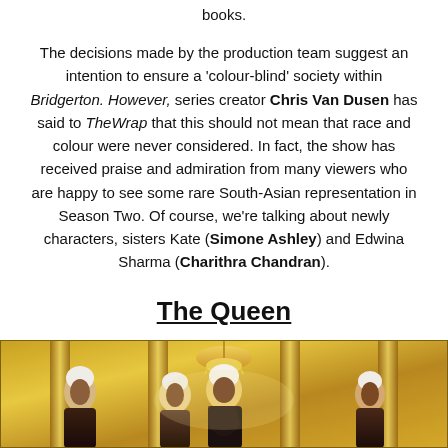books.
The decisions made by the production team suggest an intention to ensure a 'colour-blind' society within Bridgerton. However, series creator Chris Van Dusen has said to TheWrap that this should not mean that race and colour were never considered. In fact, the show has received praise and admiration from many viewers who are happy to see some rare South-Asian representation in Season Two. Of course, we're talking about newly characters, sisters Kate (Simone Ashley) and Edwina Sharma (Charithra Chandran).
The Queen
[Figure (photo): Photo of characters in ornate golden ballroom setting from Bridgerton, with people in period costume and powdered wigs.]